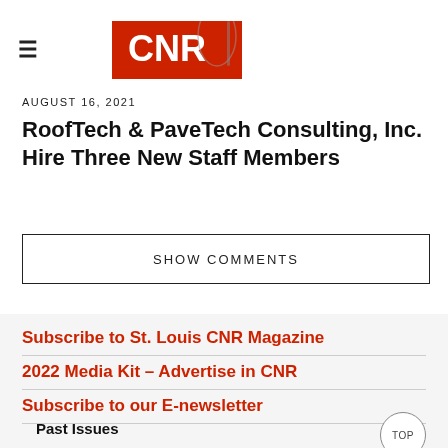CNR Magazine logo and hamburger menu
AUGUST 16, 2021
RoofTech & PaveTech Consulting, Inc. Hire Three New Staff Members
SHOW COMMENTS
Subscribe to St. Louis CNR Magazine
2022 Media Kit – Advertise in CNR
Subscribe to our E-newsletter
Past Issues
TOP